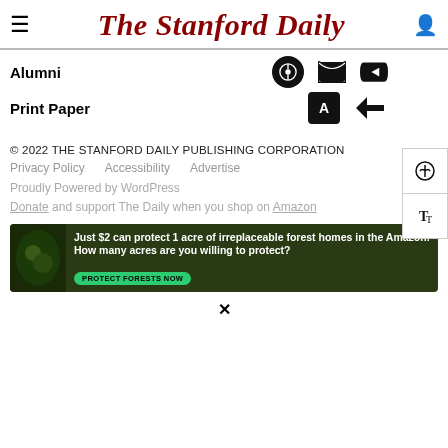The Stanford Daily
Alumni
Print Paper
[Figure (logo): Spotify logo icon (circle)]
[Figure (logo): RSS feed icon]
[Figure (logo): App Store icon (square with A)]
[Figure (logo): Google Play Store icon (triangle play button)]
© 2022 THE STANFORD DAILY PUBLISHING CORPORATION
Privacy Policy    Accessibility    Advertise
Proudly Powered by WordPress
Donate and support The Daily when you shop on Amazon
[Figure (infographic): Ad banner: Just $2 can protect 1 acre of irreplaceable forest homes in the Amazon. How many acres are you willing to protect? PROTECT FORESTS NOW]